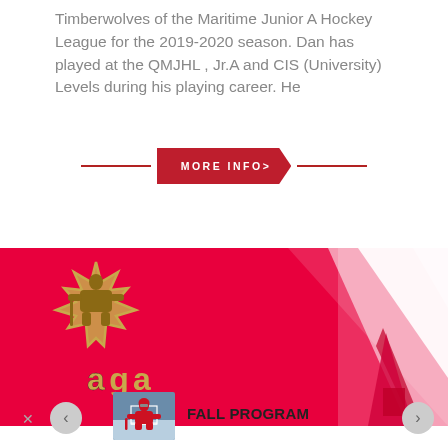Timberwolves of the Maritime Junior A Hockey League for the 2019-2020 season. Dan has played at the QMJHL , Jr.A and CIS (University) Levels during his playing career. He
[Figure (other): Red 'MORE INFO>' button with horizontal red lines on either side, styled as a callout/arrow button]
[Figure (logo): Red banner with AGA goalie academy logo on left (gold maple leaf with goalie silhouette above 'aga' text) and white triangle shape on right side]
[Figure (photo): Small thumbnail photo of ice hockey goalie in red jersey in front of a net]
FALL PROGRAM